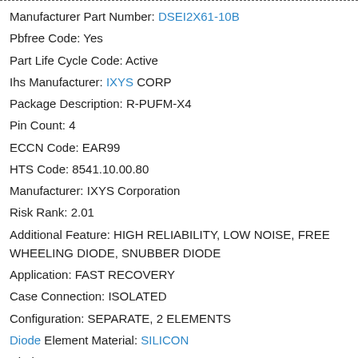Manufacturer Part Number: DSEI2X61-10B
Pbfree Code: Yes
Part Life Cycle Code: Active
Ihs Manufacturer: IXYS CORP
Package Description: R-PUFM-X4
Pin Count: 4
ECCN Code: EAR99
HTS Code: 8541.10.00.80
Manufacturer: IXYS Corporation
Risk Rank: 2.01
Additional Feature: HIGH RELIABILITY, LOW NOISE, FREE WHEELING DIODE, SNUBBER DIODE
Application: FAST RECOVERY
Case Connection: ISOLATED
Configuration: SEPARATE, 2 ELEMENTS
Diode Element Material: SILICON
Diode Type: RECTIFIER DIODE
Forward Voltage Max (VF): 1.8 V